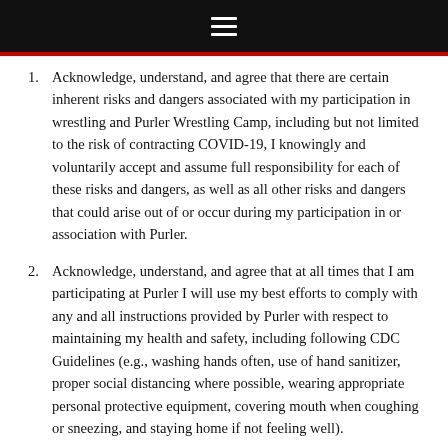≡
Acknowledge, understand, and agree that there are certain inherent risks and dangers associated with my participation in wrestling and Purler Wrestling Camp, including but not limited to the risk of contracting COVID-19, I knowingly and voluntarily accept and assume full responsibility for each of these risks and dangers, as well as all other risks and dangers that could arise out of or occur during my participation in or association with Purler.
Acknowledge, understand, and agree that at all times that I am participating at Purler I will use my best efforts to comply with any and all instructions provided by Purler with respect to maintaining my health and safety, including following CDC Guidelines (e.g., washing hands often, use of hand sanitizer, proper social distancing where possible, wearing appropriate personal protective equipment, covering mouth when coughing or sneezing, and staying home if not feeling well).